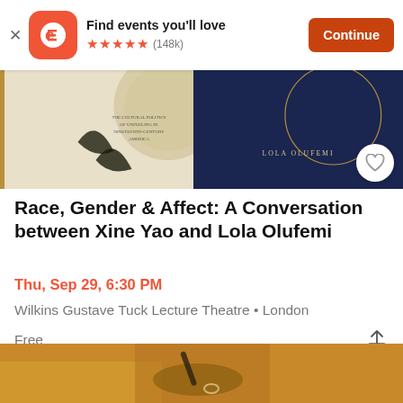[Figure (screenshot): Eventbrite app banner with logo, 'Find events you'll love', star rating (148k), and Continue button]
[Figure (photo): Event banner showing two book covers side by side on a decorative background with a heart/favorite button]
Race, Gender & Affect: A Conversation between Xine Yao and Lola Olufemi
Thu, Sep 29, 6:30 PM
Wilkins Gustave Tuck Lecture Theatre • London
Free
[Figure (photo): Close-up photo of a person in a yellow/mustard top writing with a pen, wearing a ring]